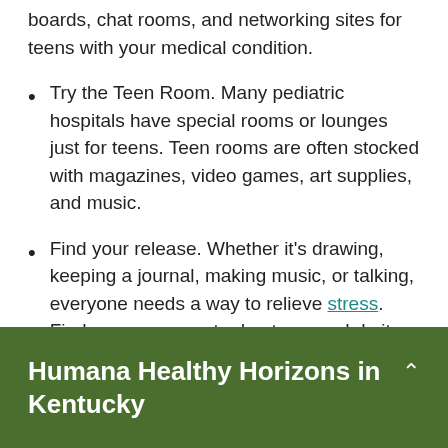boards, chat rooms, and networking sites for teens with your medical condition.
Try the Teen Room. Many pediatric hospitals have special rooms or lounges just for teens. Teen rooms are often stocked with magazines, video games, art supplies, and music.
Find your release. Whether it's drawing, keeping a journal, making music, or talking, everyone needs a way to relieve stress. Find your own way to de-stress and do it daily.
Humana Healthy Horizons in Kentucky